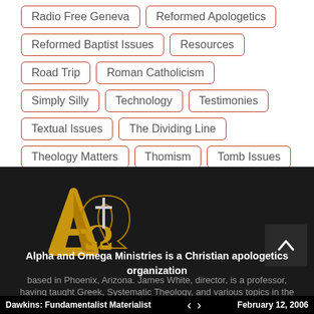Radio Free Geneva
Reformed Apologetics
Reformed Baptist Issues
Resources
Road Trip
Roman Catholicism
Simply Silly
Technology
Testimonies
Textual Issues
The Dividing Line
Theology Matters
Thomism
Tomb Issues
TROnlyism
Uncategorized
[Figure (logo): Alpha and Omega Ministries logo — stylized gold A and Omega symbol with a cross]
Alpha and Omega Ministries is a Christian apologetics organization based in Phoenix, Arizona. James White, director, is a professor, having taught Greek, Systematic Theology, and various topics in the
Dawkins: Fundamentalist Materialist   <   >   February 12, 2006